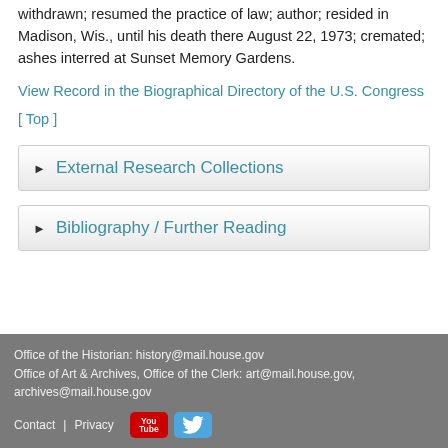withdrawn; resumed the practice of law; author; resided in Madison, Wis., until his death there August 22, 1973; cremated; ashes interred at Sunset Memory Gardens.
View Record in the Biographical Directory of the U.S. Congress
[ Top ]
► External Research Collections
► Bibliography / Further Reading
Office of the Historian: history@mail.house.gov
Office of Art & Archives, Office of the Clerk: art@mail.house.gov, archives@mail.house.gov
Contact  Privacy  [YouTube] [Twitter]